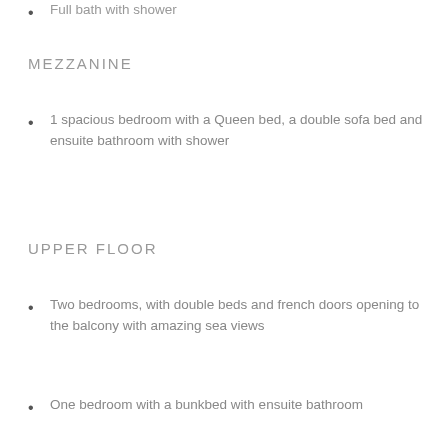Full bath with shower
MEZZANINE
1 spacious bedroom with a Queen bed, a double sofa bed and ensuite bathroom with shower
UPPER FLOOR
Two bedrooms, with double beds and french doors opening to the balcony with amazing sea views
One bedroom with a bunkbed with ensuite bathroom